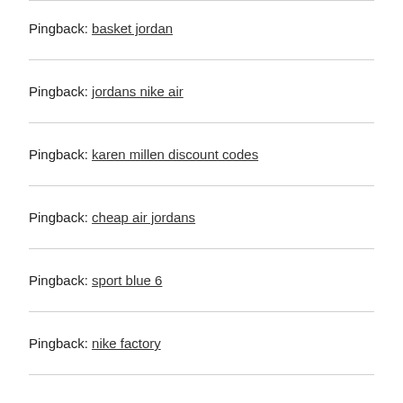Pingback: basket jordan
Pingback: jordans nike air
Pingback: karen millen discount codes
Pingback: cheap air jordans
Pingback: sport blue 6
Pingback: nike factory